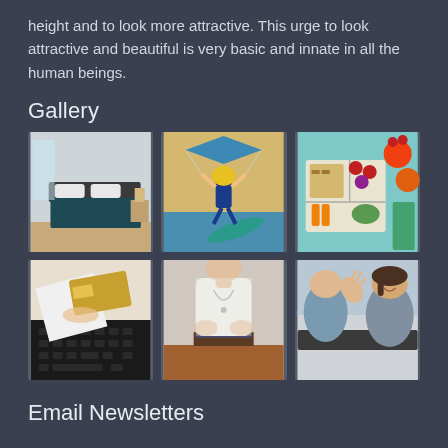height and to look more attractive. This urge to look attractive and beautiful is very basic and innate in all the human beings.
Gallery
[Figure (photo): Interior bedroom with teal bed and bright window]
[Figure (photo): Person with yellow helmet kitesurfing in the air]
[Figure (photo): Lunch box with fruits and vegetables on blue background]
[Figure (photo): Hands using a credit card on a laptop keyboard]
[Figure (photo): Person in white shirt standing over stack of books]
[Figure (photo): Two people in a car, one waving and one smiling]
Email Newsletters